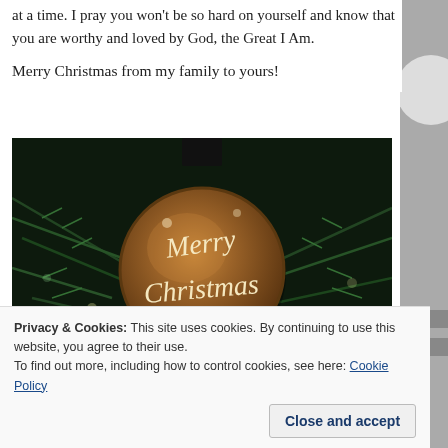at a time. I pray you won't be so hard on yourself and know that you are worthy and loved by God, the Great I Am.
Merry Christmas from my family to yours!
[Figure (photo): Dark photograph of a round wooden Christmas ornament with 'Merry Christmas' written in script, hanging on a Christmas tree with green pine branches and bokeh lights in the background.]
Privacy & Cookies: This site uses cookies. By continuing to use this website, you agree to their use.
To find out more, including how to control cookies, see here: Cookie Policy
Close and accept